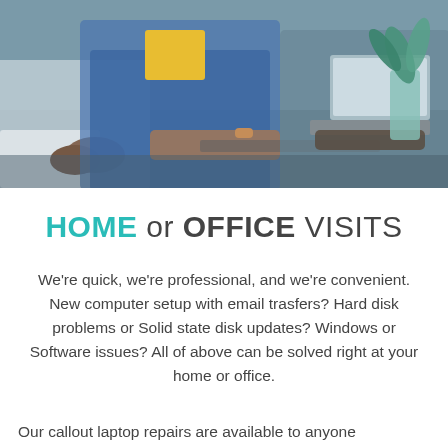[Figure (photo): People sitting at a desk working on laptops in an office environment, viewed from the side. Multiple individuals visible, one wearing a blue jacket.]
HOME or OFFICE VISITS
We're quick, we're professional, and we're convenient. New computer setup with email trasfers? Hard disk problems or Solid state disk updates? Windows or Software issues? All of above can be solved right at your home or office.
Our callout laptop repairs are available to anyone